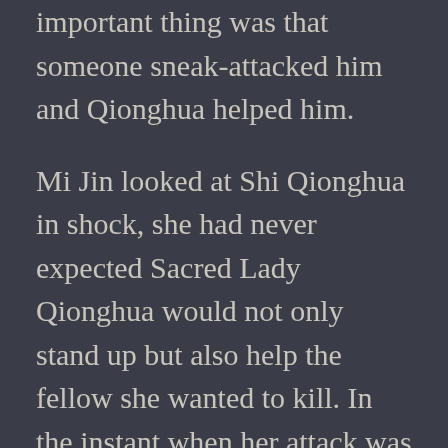important thing was that someone sneak-attacked him and Qionghua helped him.
Mi Jin looked at Shi Qionghua in shock, she had never expected Sacred Lady Qionghua would not only stand up but also help the fellow she wanted to kill. In the instant when her attack was just about to land on Shi Qionghua, she immediately recalled 99% of her strength. Even if it were the case, the remaining power still severely injured Shi Qionghua. Moreover, the powerful backlash of pulling back her strength at the last moment also caused her to spit out a mouthful of blood. If Mi Jin hadn't recalled 99% of her power, then even ten Shi